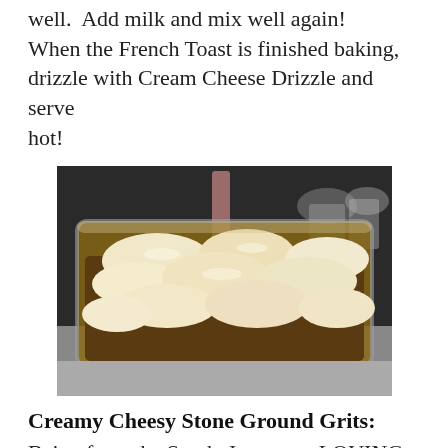well.  Add milk and mix well again! When the French Toast is finished baking, drizzle with Cream Cheese Drizzle and serve hot!
[Figure (photo): A glass baking dish filled with baked French Toast covered in a creamy white cream cheese drizzle, photographed on a table with cups/glasses visible in the background.]
Creamy Cheesy Stone Ground Grits:
Being from the South, I grew up LOVING grits…all grits are good, but Stone Ground Grits are definitely a cut above the rest!  They take a little more time and a little more effort than the trusty Quaker version…but OH MY,